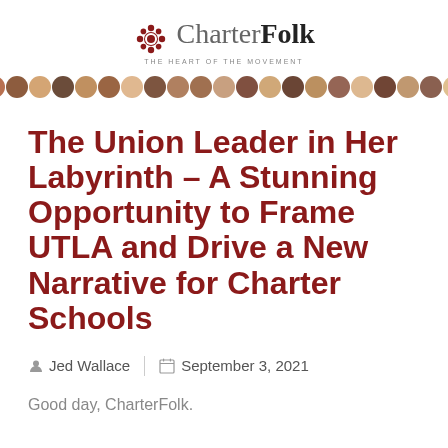[Figure (logo): CharterFolk logo with gear/flower icon, text 'CharterFolk' and tagline 'THE HEART OF THE MOVEMENT']
[Figure (photo): A horizontal strip of small circular portrait photos of various people, approximately 25 faces]
The Union Leader in Her Labyrinth – A Stunning Opportunity to Frame UTLA and Drive a New Narrative for Charter Schools
Jed Wallace   September 3, 2021
Good day, CharterFolk.